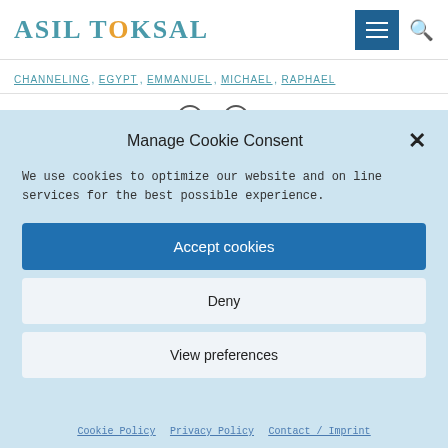ASIL TOKSAL
CHANNELING, EGYPT, EMMANUEL, MICHAEL, RAPHAEL
Manage Cookie Consent
We use cookies to optimize our website and online services for the best possible experience.
Accept cookies
Deny
View preferences
Cookie Policy  Privacy Policy  Contact / Imprint